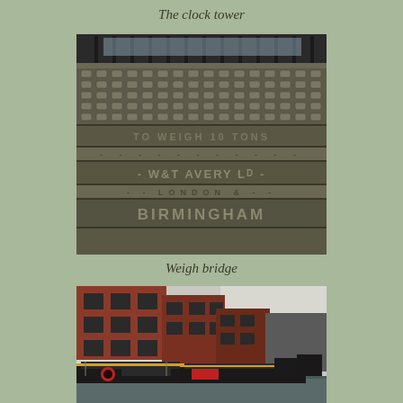The clock tower
[Figure (photo): Close-up photograph of a cast iron weigh bridge plate reading 'TO WEIGH 10 TONS - W&T AVERY LTD - LONDON & - BIRMINGHAM' with decorative riveted pattern]
Weigh bridge
[Figure (photo): Photograph of canal narrowboats moored in front of red brick buildings, typical Birmingham canal scene]